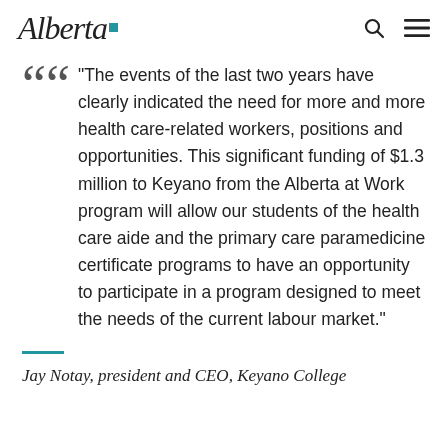Alberta
"The events of the last two years have clearly indicated the need for more and more health care-related workers, positions and opportunities. This significant funding of $1.3 million to Keyano from the Alberta at Work program will allow our students of the health care aide and the primary care paramedicine certificate programs to have an opportunity to participate in a program designed to meet the needs of the current labour market."
Jay Notay, president and CEO, Keyano College